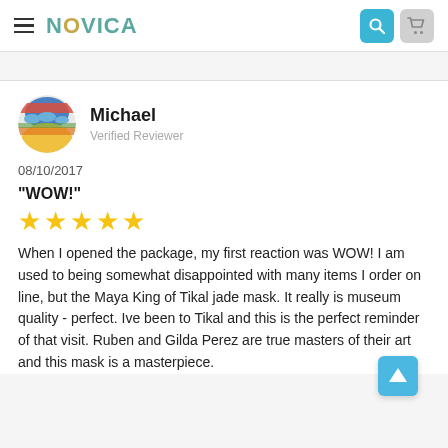NOVICA
08/10/2017
"WOW!"
[Figure (other): Five gold star rating icons]
When I opened the package, my first reaction was WOW! I am used to being somewhat disappointed with many items I order on line, but the Maya King of Tikal jade mask. It really is museum quality - perfect. Ive been to Tikal and this is the perfect reminder of that visit. Ruben and Gilda Perez are true masters of their art and this mask is a masterpiece.